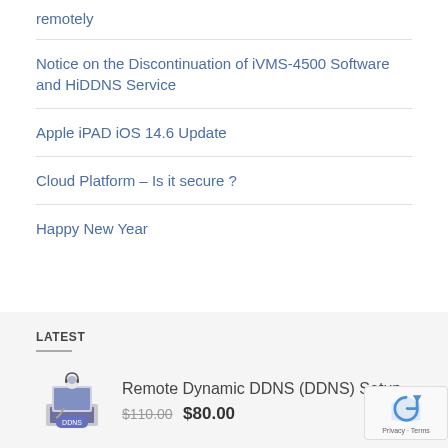remotely
Notice on the Discontinuation of iVMS-4500 Software and HiDDNS Service
Apple iPAD iOS 14.6 Update
Cloud Platform – Is it secure ?
Happy New Year
LATEST
Remote Dynamic DDNS (DDNS) Setup
$110.00  $80.00